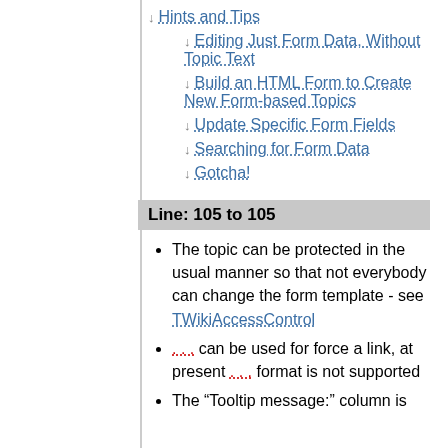↓ Hints and Tips
↓ Editing Just Form Data, Without Topic Text
↓ Build an HTML Form to Create New Form-based Topics
↓ Update Specific Form Fields
↓ Searching for Form Data
↓ Gotcha!
Line: 105 to 105
The topic can be protected in the usual manner so that not everybody can change the form template - see TWikiAccessControl
. . . can be used for force a link, at present . . . format is not supported
The "Tooltip message:" column is